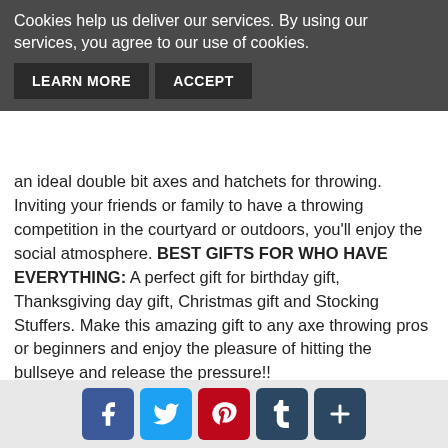[Figure (screenshot): Cookie consent banner with dark grey background, white text reading 'Cookies help us deliver our services. By using our services, you agree to our use of cookies.' and two dark buttons 'LEARN MORE' and 'ACCEPT']
an ideal double bit axes and hatchets for throwing. Inviting your friends or family to have a throwing competition in the courtyard or outdoors, you'll enjoy the social atmosphere. BEST GIFTS FOR WHO HAVE EVERYTHING: A perfect gift for birthday gift, Thanksgiving day gift, Christmas gift and Stocking Stuffers. Make this amazing gift to any axe throwing pros or beginners and enjoy the pleasure of hitting the bullseye and release the pressure!!
Throwing
Handle
Sheath
RELATED PRODUCTS
[Figure (screenshot): Social sharing bar with Facebook, Twitter, Pinterest, Tumblr, and More (+) icon buttons on a light grey background]